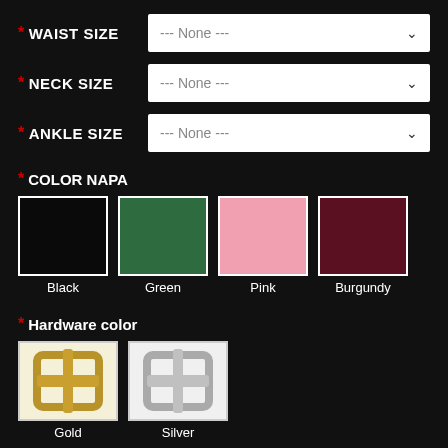* WAIST SIZE  --- None ---
* NECK SIZE  --- None ---
* ANKLE SIZE  --- None ---
* COLOR NAPA
[Figure (other): Four color swatches: Black, Green, Pink, Burgundy leather options]
* Hardware color
[Figure (other): Two hardware color swatches: Gold and Silver buckle options]